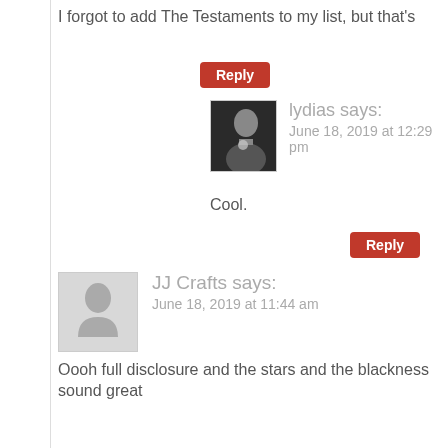I forgot to add The Testaments to my list, but that's
Reply
lydias says:
June 18, 2019 at 12:29 pm
Cool.
Reply
JJ Crafts says:
June 18, 2019 at 11:44 am
Oooh full disclosure and the stars and the blackness sound great
Reply
lydias says:
June 18, 2019 at 12:29 pm
Glad to hear it. Enjoy.
Reply